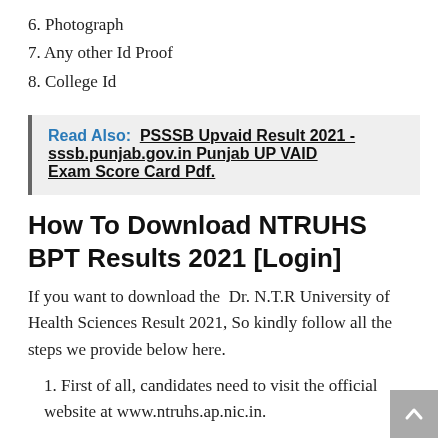6. Photograph
7. Any other Id Proof
8. College Id
Read Also:  PSSSB Upvaid Result 2021 - sssb.punjab.gov.in Punjab UP VAID Exam Score Card Pdf.
How To Download NTRUHS BPT Results 2021 [Login]
If you want to download the  Dr. N.T.R University of Health Sciences Result 2021, So kindly follow all the steps we provide below here.
1. First of all, candidates need to visit the official website at www.ntruhs.ap.nic.in.